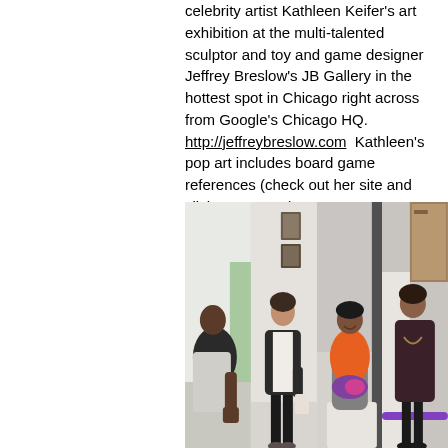celebrity artist Kathleen Keifer's art exhibition at the multi-talented sculptor and toy and game designer Jeffrey Breslow's JB Gallery in the hottest spot in Chicago right across from Google's Chicago HQ. http://jeffreybreslow.com  Kathleen's pop art includes board game references (check out her site and click on Pop Art). http://kathleenkeifer.com
[Figure (photo): Four vertical photo strips showing people at an art gallery event. Left strip: a man in a light jacket looking down. Second strip: a woman in a black cardigan standing near framed artwork. Third strip: a woman in an orange top sitting and smiling. Right strip: a woman in a dark outfit standing near a purple bar.]